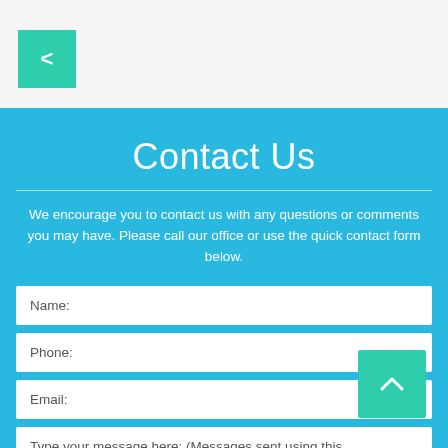[Figure (screenshot): Back navigation button with '<' symbol on green/teal background in top-left corner]
Contact Us
We encourage you to contact us with any questions or comments you may have. Please call our office or use the quick contact form below.
Name:
Phone:
Email:
Type your message here: (Messages sent using this